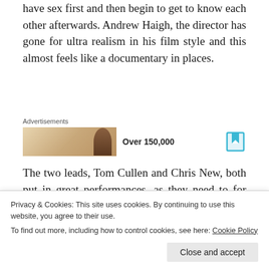have sex first and then begin to get to know each other afterwards. Andrew Haigh, the director has gone for ultra realism in his film style and this almost feels like a documentary in places.
[Figure (infographic): Advertisements section with a small thumbnail image showing a person silhouette against a bright background, text reading 'Over 150,000', and a bookmark icon on the right.]
The two leads, Tom Cullen and Chris New, both put in great performances, as they need to for this realism to work. They are fully committed
Privacy & Cookies: This site uses cookies. By continuing to use this website, you agree to their use.
To find out more, including how to control cookies, see here: Cookie Policy
other. It is a warm film, and we get to know them as they get to know each other. The